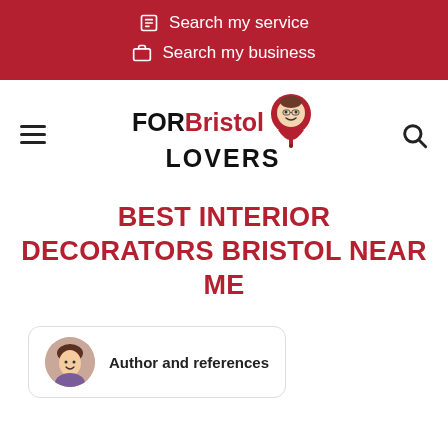Search my service
Search my business
[Figure (logo): FORBristol LOVERS logo with map pin icon]
BEST INTERIOR DECORATORS BRISTOL NEAR ME
Author and references